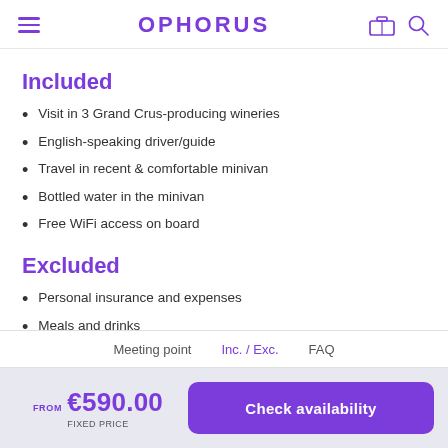OPHORUS
Included
Visit in 3 Grand Crus-producing wineries
English-speaking driver/guide
Travel in recent & comfortable minivan
Bottled water in the minivan
Free WiFi access on board
Excluded
Personal insurance and expenses
Meals and drinks
Wine tasting fees
Entrance fees to monuments, museums, attractions
Meeting point  Inc. / Exc.  FAQ
FROM €590.00 FIXED PRICE
Check availability